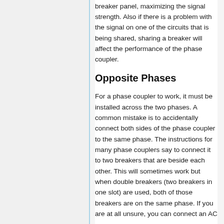breaker panel, maximizing the signal strength. Also if there is a problem with the signal on one of the circuits that is being shared, sharing a breaker will affect the performance of the phase coupler.
Opposite Phases
For a phase coupler to work, it must be installed across the two phases. A common mistake is to accidentally connect both sides of the phase coupler to the same phase. The instructions for many phase couplers say to connect it to two breakers that are beside each other. This will sometimes work but when double breakers (two breakers in one slot) are used, both of those breakers are on the same phase. If you are at all unsure, you can connect an AC